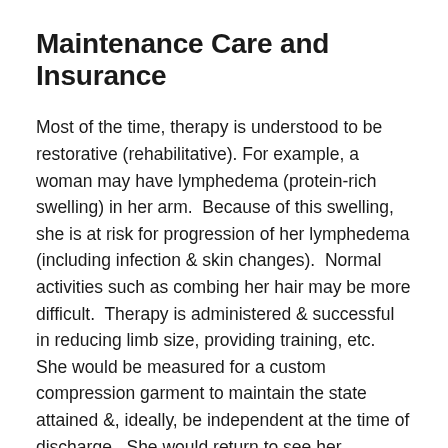Maintenance Care and Insurance
Most of the time, therapy is understood to be restorative (rehabilitative). For example, a woman may have lymphedema (protein-rich swelling) in her arm.  Because of this swelling, she is at risk for progression of her lymphedema (including infection & skin changes).  Normal activities such as combing her hair may be more difficult.  Therapy is administered & successful in reducing limb size, providing training, etc.  She would be measured for a custom compression garment to maintain the state attained &, ideally, be independent at the time of discharge.  She would return to see her therapist only if needed. (In the case of lymphedema, a periodic checkup is recommended to monitor tissue, volume &